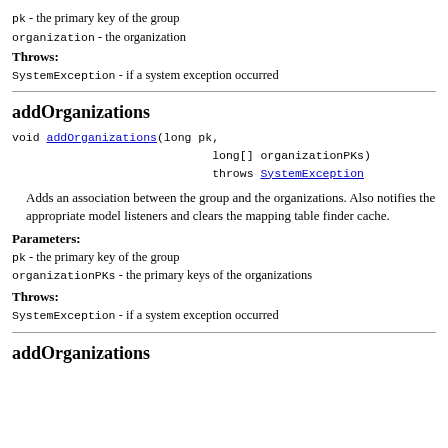pk - the primary key of the group
organization - the organization
Throws:
SystemException - if a system exception occurred
addOrganizations
void addOrganizations(long pk,
                     long[] organizationPKs)
                     throws SystemException
Adds an association between the group and the organizations. Also notifies the appropriate model listeners and clears the mapping table finder cache.
Parameters:
pk - the primary key of the group
organizationPKs - the primary keys of the organizations
Throws:
SystemException - if a system exception occurred
addOrganizations